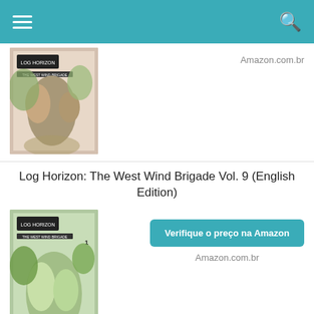Navigation bar with hamburger menu and search icon
[Figure (illustration): Partial book cover for Log Horizon The West Wind Brigade manga volume (pink/green tones)]
Amazon.com.br
Log Horizon: The West Wind Brigade Vol. 9 (English Edition)
[Figure (illustration): Book cover for Log Horizon The West Wind Brigade Vol. 9 manga (green tones with characters)]
Verifique o preço na Amazon
Amazon.com.br
Log Horizon - Livro 05
[Figure (illustration): Book cover for Log Horizon Livro 05 manga (orange/brown tones with characters)]
Verifique o preço na Amazon
Amazon.com.br